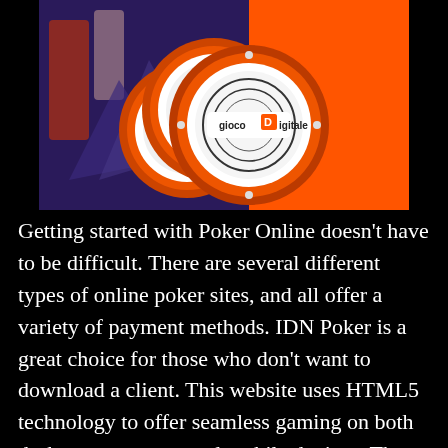[Figure (illustration): Poker chips with orange and white design featuring 'gioco digitale' logo on a purple/orange background]
Getting started with Poker Online doesn't have to be difficult. There are several different types of online poker sites, and all offer a variety of payment methods. IDN Poker is a great choice for those who don't want to download a client. This website uses HTML5 technology to offer seamless gaming on both desktop computers and mobile devices. There are several features to choose from when registering with this